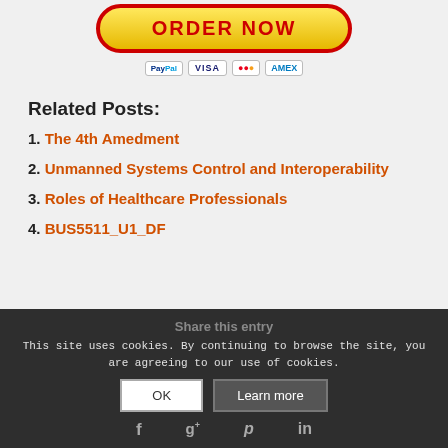[Figure (illustration): Order button with yellow gradient and red border, with PayPal, VISA, MasterCard, and American Express payment icons below]
Related Posts:
1. The 4th Amedment
2. Unmanned Systems Control and Interoperability
3. Roles of Healthcare Professionals
4. BUS5511_U1_DF
Share this entry
This site uses cookies. By continuing to browse the site, you are agreeing to our use of cookies.
OK  Learn more
f  g+  p  in